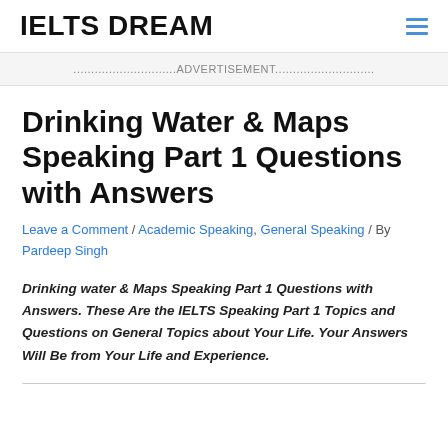IELTS DREAM
...........................ADVERTISEMENT............................
Drinking Water & Maps Speaking Part 1 Questions with Answers
Leave a Comment / Academic Speaking, General Speaking / By Pardeep Singh
Drinking water & Maps Speaking Part 1 Questions with Answers. These Are the IELTS Speaking Part 1 Topics and Questions on General Topics about Your Life. Your Answers Will Be from Your Life and Experience.